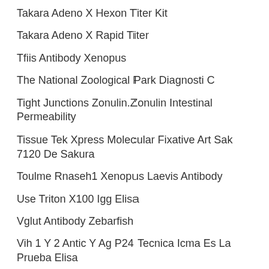Takara Adeno X Hexon Titer Kit
Takara Adeno X Rapid Titer
Tfiis Antibody Xenopus
The National Zoological Park Diagnosti C
Tight Junctions Zonulin.Zonulin Intestinal Permeability
Tissue Tek Xpress Molecular Fixative Art Sak 7120 De Sakura
Toulme Rnaseh1 Xenopus Laevis Antibody
Use Triton X100 Igg Elisa
Vglut Antibody Zebarfish
Vih 1 Y 2 Antic Y Ag P24 Tecnica Icma Es La Prueba Elisa
Wak Chemie Ynne0367S
Yersinia Pseudotuberculosis Yersinia Enterocolitica Elisa